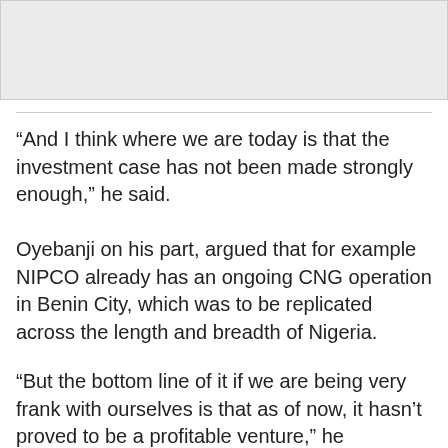[Figure (photo): Placeholder image area with light gray background]
“And I think where we are today is that the investment case has not been made strongly enough,” he said.
Oyebanji on his part, argued that for example NIPCO already has an ongoing CNG operation in Benin City, which was to be replicated across the length and breadth of Nigeria.
“But the bottom line of it if we are being very frank with ourselves is that as of now, it hasn’t proved to be a profitable venture,” he